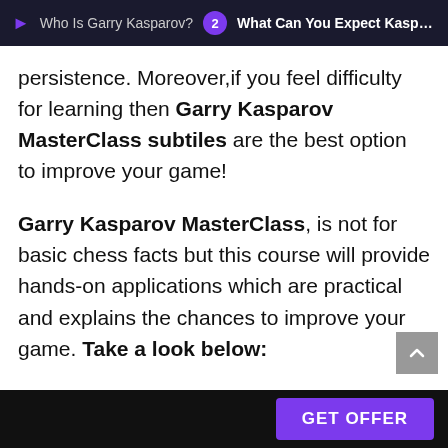Who Is Garry Kasparov?  2  What Can You Expect Kaspa…
persistence. Moreover,if you feel difficulty for learning then Garry Kasparov MasterClass subtiles are the best option to improve your game!
Garry Kasparov MasterClass, is not for basic chess facts but this course will provide hands-on applications which are practical and explains the chances to improve your game. Take a look below:
GET OFFER